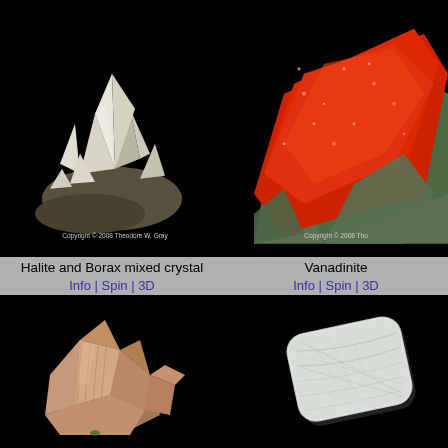[Figure (photo): Halite and Borax mixed crystal specimen on black background — white/grey cubic crystals with rough matrix]
Halite and Borax mixed crystal
Info | Spin | 3D
[Figure (photo): Vanadinite mineral specimen on black background — bright red-orange crystalline crust over green-grey matrix rock]
Vanadinite
Info | Spin | 3D
[Figure (photo): Mineral crystal (likely Barite or Aragonite) — brownish-orange intergrown tabular crystals on black background]
[Figure (photo): Clear/translucent elongated crystal tablet with fibrous internal structure on black background — possibly Selenite or Ulexite]